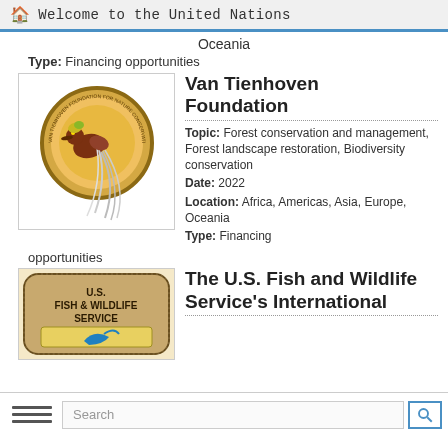Welcome to the United Nations
Oceania
Type: Financing opportunities
[Figure (logo): Van Tienhoven Foundation logo — a bird of paradise inside a circular emblem with feathers]
Van Tienhoven Foundation
Topic: Forest conservation and management, Forest landscape restoration, Biodiversity conservation
Date: 2022
Location: Africa, Americas, Asia, Europe, Oceania
Type: Financing opportunities
[Figure (logo): U.S. Fish & Wildlife Service logo — brown rounded rectangle badge with yellow band and bird]
The U.S. Fish and Wildlife Service's International Affairs